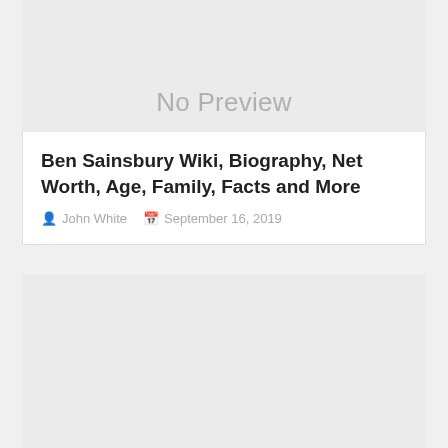[Figure (other): No Preview placeholder image block for first article]
Ben Sainsbury Wiki, Biography, Net Worth, Age, Family, Facts and More
John White   September 16, 2019
[Figure (other): No Preview placeholder image block for second article]
Kjetil Sjøm Wiki, Biography, Net Worth, Age,